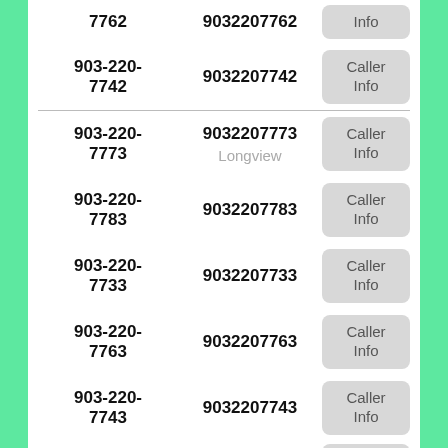| Phone | Number | Action |
| --- | --- | --- |
| 7762 | 9032207762 | Caller Info |
| 903-220-7742 | 9032207742 | Caller Info |
| 903-220-7773 | 9032207773 / Longview | Caller Info |
| 903-220-7783 | 9032207783 | Caller Info |
| 903-220-7733 | 9032207733 | Caller Info |
| 903-220-7763 | 9032207763 | Caller Info |
| 903-220-7743 | 9032207743 | Caller Info |
| 903-220-7713 | 9032207713 | Caller Info |
| 903-220- | 9032207703 | Caller Info |